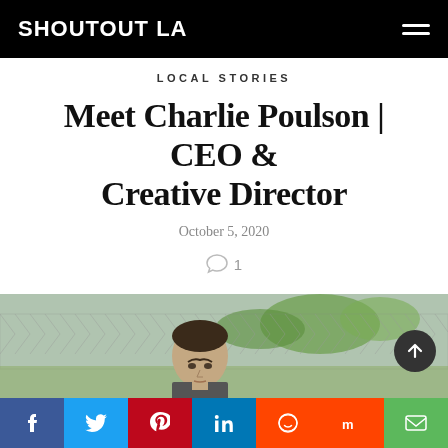SHOUTOUT LA
LOCAL STORIES
Meet Charlie Poulson | CEO & Creative Director
October 5, 2020
1
[Figure (photo): Man standing in front of a chain-link fence with trees and a field in the background]
Social sharing bar: Facebook, Twitter, Pinterest, LinkedIn, Reddit, Mix, Email